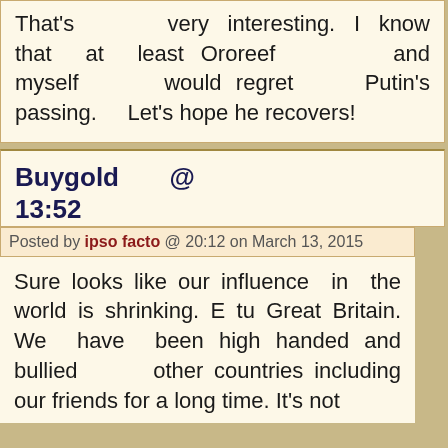That's very interesting. I know that at least Ororeef and myself would regret Putin's passing. Let's hope he recovers!
Buygold @ 13:52
Posted by ipso facto @ 20:12 on March 13, 2015
Sure looks like our influence in the world is shrinking. E tu Great Britain. We have been high handed and bullied other countries including our friends for a long time. It's not